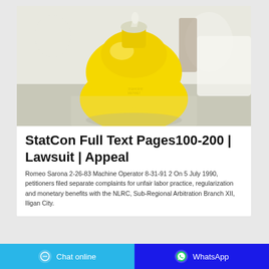[Figure (photo): Close-up photo of a yellow squeeze bottle with a clear nozzle cap, on a blurred light background]
StatCon Full Text Pages100-200 | Lawsuit | Appeal
Romeo Sarona 2-26-83 Machine Operator 8-31-91 2 On 5 July 1990, petitioners filed separate complaints for unfair labor practice, regularization and monetary benefits with the NLRC, Sub-Regional Arbitration Branch XII, Iligan City.
Chat online | WhatsApp